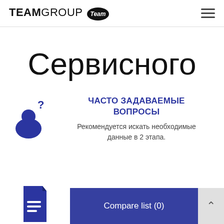TEAMGROUP Team
Сервисного
[Figure (illustration): Blue icon of a person with a question mark above their head]
ЧАСТО ЗАДАВАЕМЫЕ ВОПРОСЫ
Рекомендуется искать необходимые данные в 2 этапа.
[Figure (illustration): Blue document/file icon with lines]
Compare list (0)